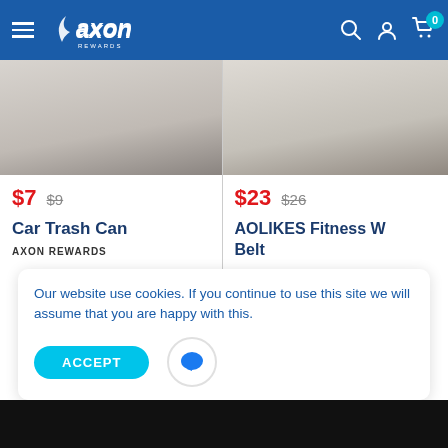[Figure (screenshot): Axon Rewards e-commerce website navigation bar with hamburger menu, logo, search, account, and cart icons (cart shows 0 badge)]
[Figure (photo): Car Trash Can product image - partial view of product]
$7  $9
Car Trash Can
AXON REWARDS
[Figure (photo): AOLIKES Fitness Weightlifting Belt product image - partial view]
$23  $26
AOLIKES Fitness W... Belt
AXON REWARDS
[Figure (other): Color swatches: black (selected, cyan border), red, yellow]
Our website use cookies. If you continue to use this site we will assume that you are happy with this.
[Figure (other): ACCEPT button and chat bubble icon]